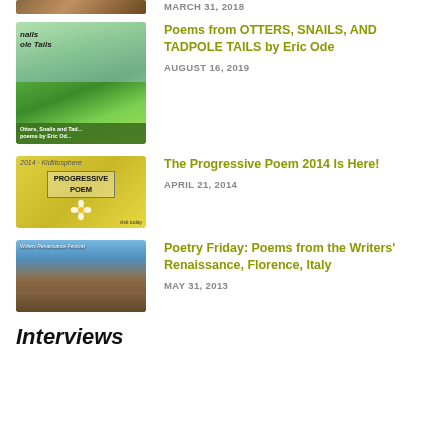[Figure (photo): Partial top of a book/nature thumbnail image]
MARCH 31, 2018
[Figure (photo): Book cover for Otters, Snails and Tadpoles poems by Eric Ode]
Poems from OTTERS, SNAILS, AND TADPOLE TAILS by Eric Ode
AUGUST 16, 2019
[Figure (photo): 2014 Kidlitosphere Progressive Poem badge with yellow daisy]
The Progressive Poem 2014 Is Here!
APRIL 21, 2014
[Figure (photo): Photo of Florence Italy skyline with dome]
Poetry Friday: Poems from the Writers' Renaissance, Florence, Italy
MAY 31, 2013
Interviews